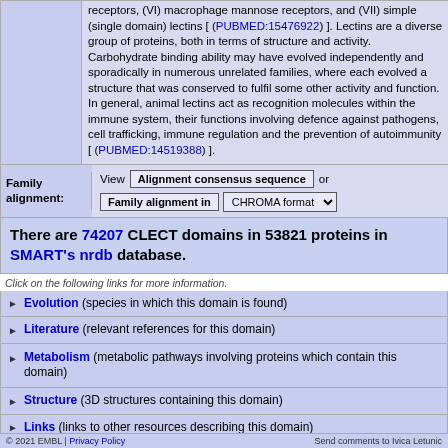receptors, (VI) macrophage mannose receptors, and (VII) simple (single domain) lectins [ (PUBMED:15476922) ]. Lectins are a diverse group of proteins, both in terms of structure and activity. Carbohydrate binding ability may have evolved independently and sporadically in numerous unrelated families, where each evolved a structure that was conserved to fulfil some other activity and function. In general, animal lectins act as recognition molecules within the immune system, their functions involving defence against pathogens, cell trafficking, immune regulation and the prevention of autoimmunity [ (PUBMED:14519388) ].
View Alignment consensus sequence or Family alignment in CHROMA format
There are 74207 CLECT domains in 53821 proteins in SMART's nrdb database.
Click on the following links for more information.
Evolution (species in which this domain is found)
Literature (relevant references for this domain)
Metabolism (metabolic pathways involving proteins which contain this domain)
Structure (3D structures containing this domain)
Links (links to other resources describing this domain)
© 2021 EMBL | Privacy Policy    Send comments to Ivica Letunic